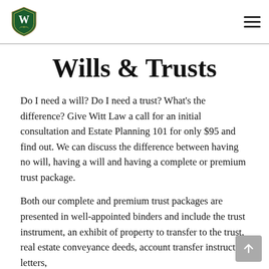Witt Law logo and navigation menu
Wills & Trusts
Do I need a will?  Do I need a trust?  What's the difference?  Give Witt Law a call for an initial consultation and Estate Planning 101 for only $95 and find out.  We can discuss the difference between having no will, having a will and having a complete or premium trust package.
Both our complete and premium trust packages are presented in well-appointed binders and include the trust instrument, an exhibit of property to transfer to the trust, real estate conveyance deeds, account transfer instruction letters,